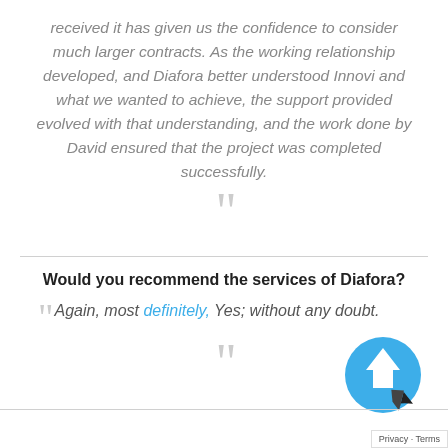received it has given us the confidence to consider much larger contracts. As the working relationship developed, and Diafora better understood Innovi and what we wanted to achieve, the support provided evolved with that understanding, and the work done by David ensured that the project was completed successfully.
Would you recommend the services of Diafora?
Again, most definitely, Yes; without any doubt.
[Figure (other): Blue circular back-to-top arrow icon with dark cursor arrow overlay, and a Privacy - Terms label box in the bottom right corner]